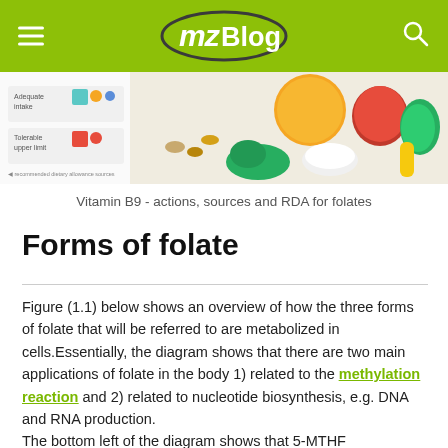mzBlog
[Figure (photo): Hero image showing food sources of folate/Vitamin B9 with a legend indicating adequate intake and tolerable upper limit, alongside colorful fruits, vegetables, nuts, and dairy items.]
Vitamin B9 - actions, sources and RDA for folates
Forms of folate
Figure (1.1) below shows an overview of how the three forms of folate that will be referred to are metabolized in cells.Essentially, the diagram shows that there are two main applications of folate in the body 1) related to the methylation reaction and 2) related to nucleotide biosynthesis, e.g. DNA and RNA production.
The bottom left of the diagram shows that 5-MTHF